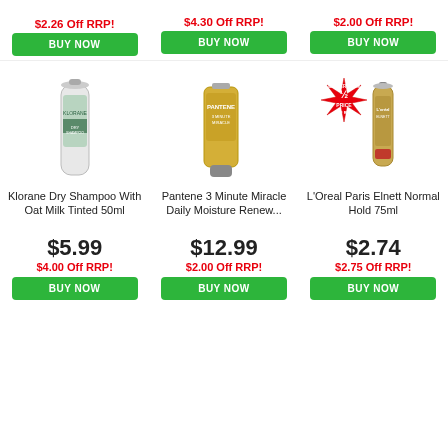$2.26 Off RRP!
$4.30 Off RRP!
$2.00 Off RRP!
[Figure (photo): Klorane Dry Shampoo With Oat Milk Tinted 50ml product image]
[Figure (photo): Pantene 3 Minute Miracle Daily Moisture Renew product image]
[Figure (photo): L'Oreal Paris Elnett Normal Hold 75ml product image with Better Than 1/2 Price Off RRP badge]
Klorane Dry Shampoo With Oat Milk Tinted 50ml
Pantene 3 Minute Miracle Daily Moisture Renew...
L'Oreal Paris Elnett Normal Hold 75ml
$5.99
$4.00 Off RRP!
$12.99
$2.00 Off RRP!
$2.74
$2.75 Off RRP!